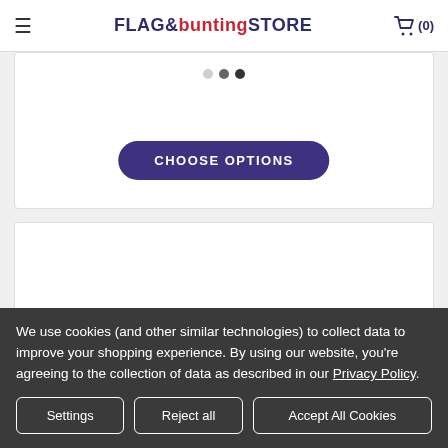FLAG & buntingSTORE (0)
[Figure (screenshot): Partial product card with carousel dots and a purple 'CHOOSE OPTIONS' button]
[Figure (screenshot): Partial product card showing a flag with green, white, and grey sections]
We use cookies (and other similar technologies) to collect data to improve your shopping experience. By using our website, you're agreeing to the collection of data as described in our Privacy Policy.
Settings | Reject all | Accept All Cookies